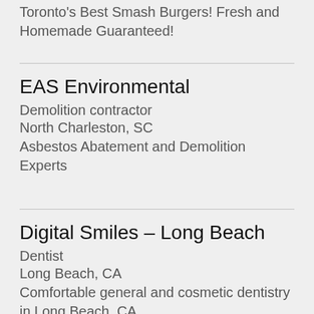Toronto's Best Smash Burgers! Fresh and Homemade Guaranteed!
EAS Environmental
Demolition contractor
North Charleston, SC
Asbestos Abatement and Demolition Experts
Digital Smiles – Long Beach
Dentist
Long Beach, CA
Comfortable general and cosmetic dentistry in Long Beach, CA.